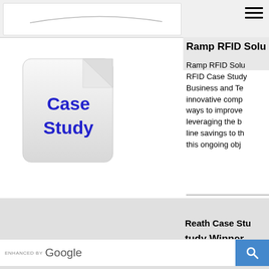[Figure (screenshot): Top navigation bar with white search input area and hamburger menu icon in top right]
[Figure (illustration): Case Study document icon with bold blue text reading 'Case Study' on a white folded page with rounded corners]
Ramp RFID Solu
Ramp RFID Solu RFID Case Study Business and Te innovative comp ways to improve leveraging the b line savings to th this ongoing obj
Price: F
Quantity: 1
Add To Ca
Reath Case Stu
tudy Winner
[Figure (screenshot): Google search bar with 'ENHANCED BY Google' text and blue search button with magnifying glass icon]